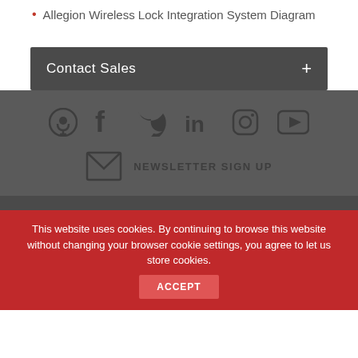Allegion Wireless Lock Integration System Diagram
Contact Sales
[Figure (infographic): Social media icons: podcast, facebook, twitter, linkedin, instagram, youtube]
NEWSLETTER SIGN UP
This website uses cookies. By continuing to browse this website without changing your browser cookie settings, you agree to let us store cookies. ACCEPT